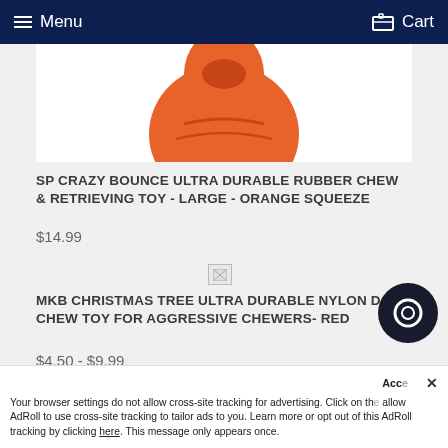Menu   Cart
[Figure (photo): Orange rubber dog chew toy (partially visible, bottom portion of toy on white background)]
SP CRAZY BOUNCE ULTRA DURABLE RUBBER CHEW & RETRIEVING TOY - LARGE - ORANGE SQUEEZE
$14.99
[Figure (photo): Broken/missing image placeholder for second product]
MKB CHRISTMAS TREE ULTRA DURABLE NYLON DOG CHEW TOY FOR AGGRESSIVE CHEWERS- RED
$4.50 - $9.99
Acce  ×
Your browser settings do not allow cross-site tracking for advertising. Click on th... allow AdRoll to use cross-site tracking to tailor ads to you. Learn more or opt out of this AdRoll tracking by clicking here. This message only appears once.